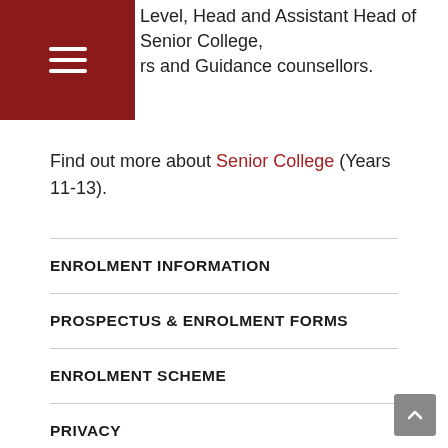Level, Head and Assistant Head of Senior College, rs and Guidance counsellors.
Find out more about Senior College (Years 11-13).
ENROLMENT INFORMATION
PROSPECTUS & ENROLMENT FORMS
ENROLMENT SCHEME
PRIVACY
FEES & OTHER COSTS
CHOOSING THE RIGHT SCHOOL
STARTING SCHOOL